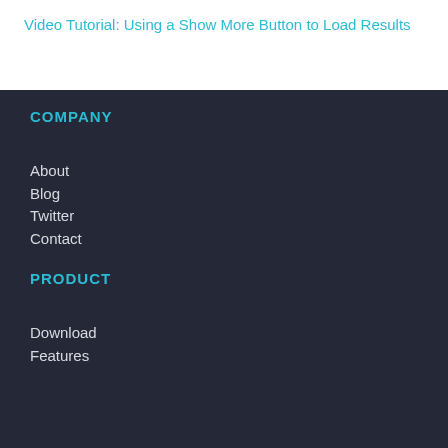Video Tutorial: Using a Show More Button to Load Results
COMPANY
About
Blog
Twitter
Contact
PRODUCT
Download
Features